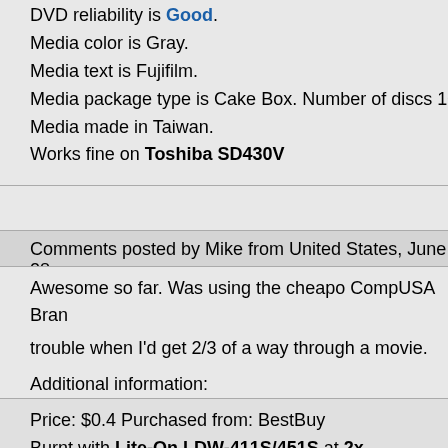DVD reliability is Good. Media color is Gray. Media text is Fujifilm. Media package type is Cake Box. Number of discs 100. Media made in Taiwan. Works fine on Toshiba SD430V
Comments posted by Mike from United States, June 28,
Awesome so far. Was using the cheapo CompUSA Brand trouble when I'd get 2/3 of a way through a movie. Burn and played straight through with not a single glitch in my Definitely have high hopes for these.
Additional information:
Price: $0.4 Purchased from: BestBuy Burnt with Lite-On LDW-411S/451S at 2x Burning reliability is Good